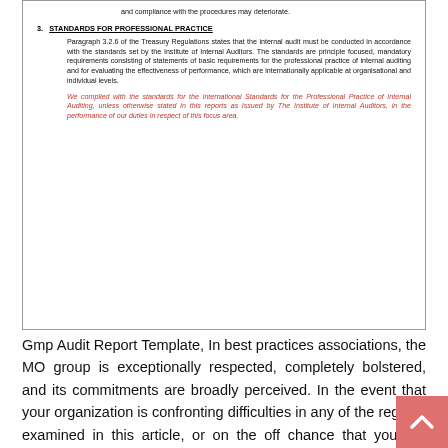and compliance with the procedures may deteriorate.
3. STANDARDS FOR PROFESSIONAL PRACTICE
Paragraph 3.2.6 of the Treasury Regulations states that the internal audit must be conducted in accordance with the standards set by the Institute of Internal Auditors. The standards are principle focused, mandatory requirements consisting of statements of basic requirements for the professional practice of internal auditing and for evaluating the effectiveness of performance, which are internationally applicable at organisational and individual levels.
We complied with the standards for the International Standards for the Professional Practice of Internal Auditing, unless otherwise stated in this reports as issued by The Institute of Internal Auditors, in the performance of our duties in respect of this focus area.
Gmp Audit Report Template, In best practices associations, the MO group is exceptionally respected, completely bolstered, and its commitments are broadly perceived. In the event that your organization is confronting difficulties in any of the regions examined in this article, or on the off chance that you are contemplating making an advertising activities work or expanding the viability of the one you as of now have, you should begin with a present state appraisal that will assist you with assessing the general soundness of your showcasing or potentially Marketing Operations today Gmp Audit Report Template quality audit report sample, gmp audit template, gmp audit checklist, as9100 audit report example, product audit report example, sample internal audit report of food manufacturing company, internal audit report format for